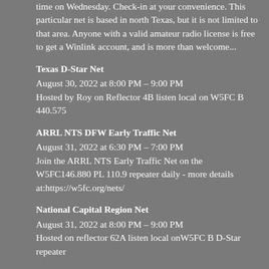time on Wednesday. Check-in at your convenience. This particular net is based in north Texas, but it is not limited to that area. Anyone with a valid amateur radio license is free to get a Winlink account, and is more than welcome...
Texas D-Star Net
August 30, 2022 at 8:00 PM – 9:00 PM
Hosted by Roy on Reflector 4B listen local on W5FC B 440.575
ARRL NTS DFW Early Traffic Net
August 31, 2022 at 6:30 PM – 7:00 PM
Join the ARRL NTS Early Traffic Net on the W5FC146.880 PL 110.9 repeater daily - more details at:https://w5fc.org/nets/
National Capital Region Net
August 31, 2022 at 8:00 PM – 9:00 PM
Hosted on reflector 62A listen local onW5FC B D-Star repeater